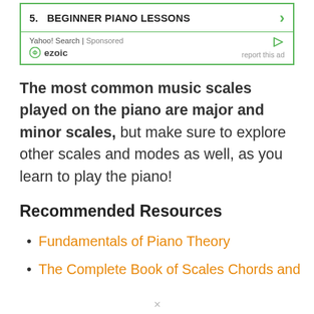[Figure (other): Advertisement box: '5. BEGINNER PIANO LESSONS' with Yahoo! Search | Sponsored label and ezoic branding]
The most common music scales played on the piano are major and minor scales, but make sure to explore other scales and modes as well, as you learn to play the piano!
Recommended Resources
Fundamentals of Piano Theory
The Complete Book of Scales Chords and